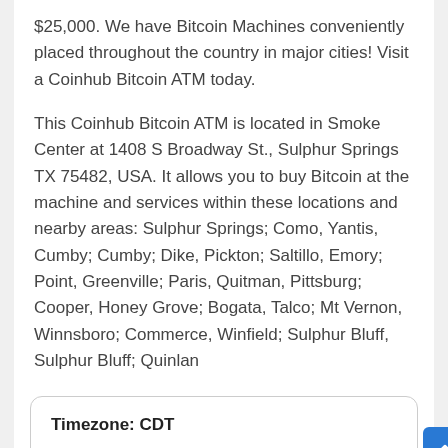$25,000. We have Bitcoin Machines conveniently placed throughout the country in major cities! Visit a Coinhub Bitcoin ATM today.
This Coinhub Bitcoin ATM is located in Smoke Center at 1408 S Broadway St., Sulphur Springs TX 75482, USA. It allows you to buy Bitcoin at the machine and services within these locations and nearby areas: Sulphur Springs; Como, Yantis, Cumby; Cumby; Dike, Pickton; Saltillo, Emory; Point, Greenville; Paris, Quitman, Pittsburg; Cooper, Honey Grove; Bogata, Talco; Mt Vernon, Winnsboro; Commerce, Winfield; Sulphur Bluff, Sulphur Bluff; Quinlan
| Timezone: CDT |  |
| --- | --- |
| Monday | 10:00 AM - 09:00 PM |